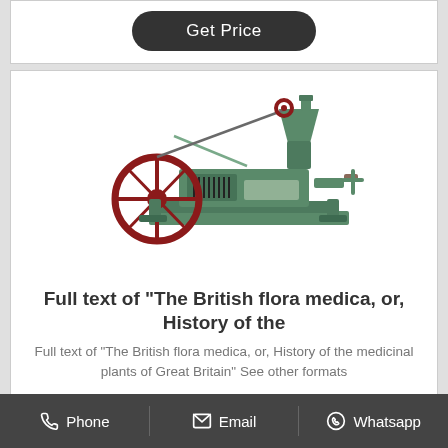[Figure (other): A green oil press / expeller machine with red flywheel, hopper on top right, and mechanical press body, on white background]
Full text of "The British flora medica, or, History of the
Full text of "The British flora medica, or, History of the medicinal plants of Great Britain" See other formats
Phone   Email   Whatsapp